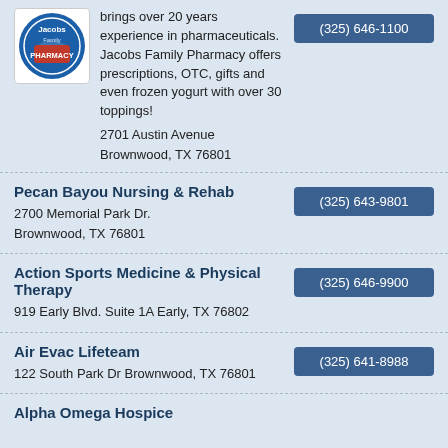Opened July 2, 2021. He brings over 20 years experience in pharmaceuticals. Jacobs Family Pharmacy offers prescriptions, OTC, gifts and even frozen yogurt with over 30 toppings! 2701 Austin Avenue Brownwood, TX 76801
(325) 646-1100
Pecan Bayou Nursing & Rehab
2700 Memorial Park Dr. Brownwood, TX 76801
(325) 643-9801
Action Sports Medicine & Physical Therapy
919 Early Blvd. Suite 1A Early, TX 76802
(325) 646-9900
Air Evac Lifeteam
122 South Park Dr Brownwood, TX 76801
(325) 641-8988
Alpha Omega Hospice